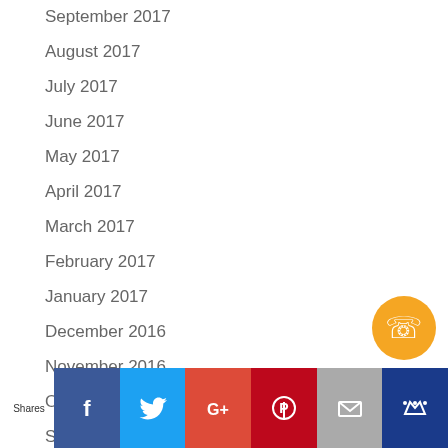September 2017
August 2017
July 2017
June 2017
May 2017
April 2017
March 2017
February 2017
January 2017
December 2016
November 2016
October 2016
September 2016
[Figure (other): Yellow circle phone button icon]
Shares | Facebook | Twitter | Google+ | Pinterest | Email | Crown